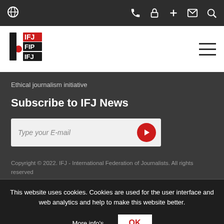[Figure (screenshot): Top navigation bar with dark background, globe icon on left, and phone/lock/plus/mail/search icons on right]
[Figure (logo): IFJ (International Federation of Journalists) logo on white bar with hamburger menu icon]
Ethical journalism initiative
Subscribe to IFJ News
Type your E-mail
Copyright © 2022. IFJ - International Federation of Journalists. All rights reserved
This website uses cookies. Cookies are used for the user interface and web analytics and help to make this website better.
More info's
OK